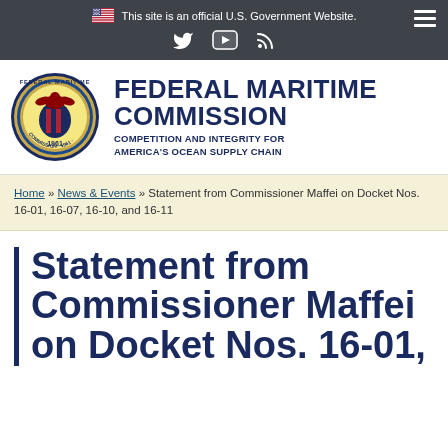This site is an official U.S. Government Website.
[Figure (logo): Federal Maritime Commission seal/logo with agency name and tagline]
Home » News & Events » Statement from Commissioner Maffei on Docket Nos. 16-01, 16-07, 16-10, and 16-11
Statement from Commissioner Maffei on Docket Nos. 16-01,